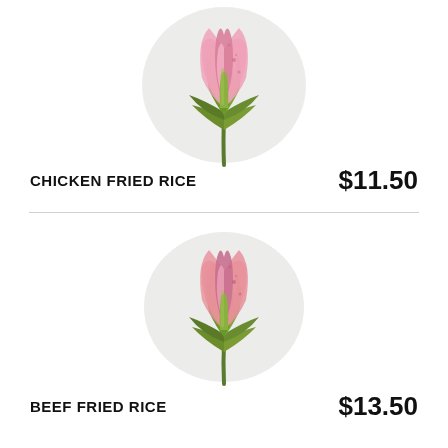[Figure (illustration): Watercolor illustration of a pink lotus flower bud with green leaves on a light grey circular background]
CHICKEN FRIED RICE
$11.50
[Figure (illustration): Watercolor illustration of a pink lotus flower bud with green leaves on a light grey circular background]
BEEF FRIED RICE
$13.50